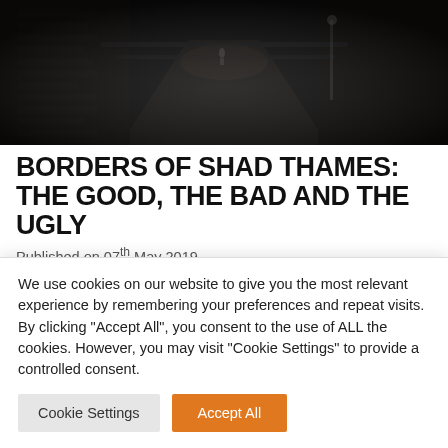[Figure (photo): Dark narrow alleyway or street between old brick buildings, with dim lighting and a figure visible in the distance.]
BORDERS OF SHAD THAMES: THE GOOD, THE BAD AND THE UGLY
Published on 07th May 2019
This walking tour of the historic riverside area of Shad Thames is part of London Festival of
We use cookies on our website to give you the most relevant experience by remembering your preferences and repeat visits. By clicking "Accept All", you consent to the use of ALL the cookies. However, you may visit "Cookie Settings" to provide a controlled consent.